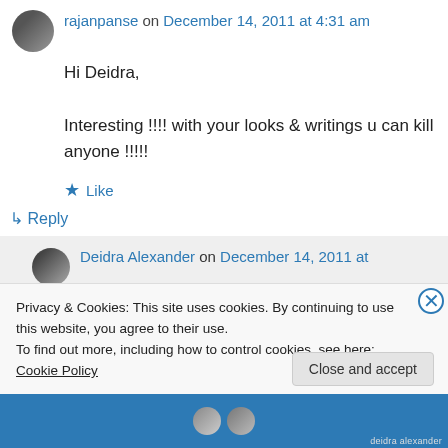rajanpanse on December 14, 2011 at 4:31 am
Hi Deidra,

Interesting !!!! with your looks & writings u can kill anyone !!!!!
Like
Reply
Deidra Alexander on December 14, 2011 at
Privacy & Cookies: This site uses cookies. By continuing to use this website, you agree to their use.
To find out more, including how to control cookies, see here: Cookie Policy
Close and accept